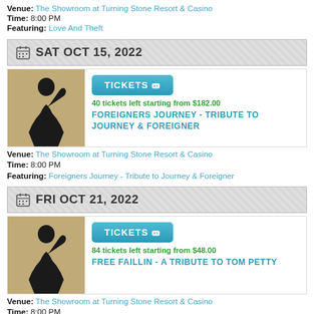Venue: The Showroom at Turning Stone Resort & Casino
Time: 8:00 PM
Featuring: Love And Theft
SAT OCT 15, 2022
[Figure (photo): Silhouette of a performer against a light background]
TICKETS
40 tickets left starting from $182.00
FOREIGNERS JOURNEY - TRIBUTE TO JOURNEY & FOREIGNER
Venue: The Showroom at Turning Stone Resort & Casino
Time: 8:00 PM
Featuring: Foreigners Journey - Tribute to Journey & Foreigner
FRI OCT 21, 2022
[Figure (photo): Silhouette of a performer against a light background]
TICKETS
84 tickets left starting from $48.00
FREE FAILLIN - A TRIBUTE TO TOM PETTY
Venue: The Showroom at Turning Stone Resort & Casino
Time: 8:00 PM
Featuring: Free Faillin - A Tribute to Tom Petty
SUN OCT 30, 2022